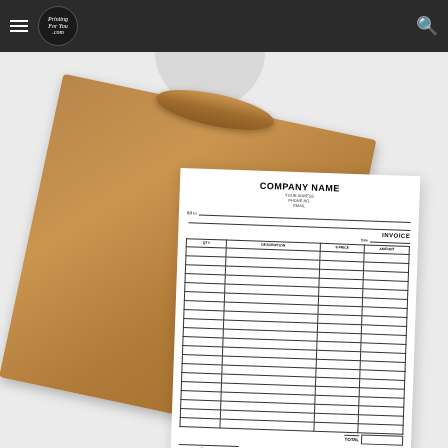Printing For You .com — navigation bar with logo and search
[Figure (photo): Product photo showing a company invoice form printed on white paper, placed on top of a rolled brown kraft paper, set against a light grey background. The invoice shows 'COMPANY NAME' at the top with address fields, a billing section, and a table with columns for QTY, DESCRIPTION, $ PRICE, and AMOUNT, followed by a TOTAL row and SIGNED BY / RECEIVED BY signature lines at the bottom.]